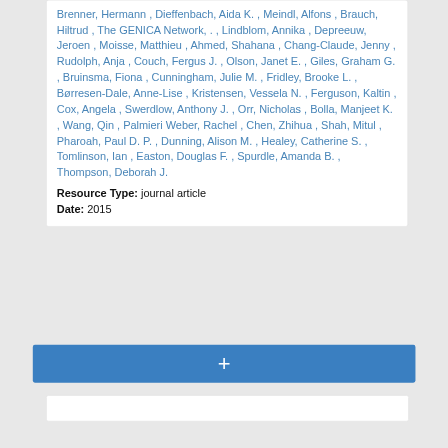Brenner, Hermann , Dieffenbach, Aida K. , Meindl, Alfons , Brauch, Hiltrud , The GENICA Network, . , Lindblom, Annika , Depreeuw, Jeroen , Moisse, Matthieu , Ahmed, Shahana , Chang-Claude, Jenny , Rudolph, Anja , Couch, Fergus J. , Olson, Janet E. , Giles, Graham G. , Bruinsma, Fiona , Cunningham, Julie M. , Fridley, Brooke L. , Børresen-Dale, Anne-Lise , Kristensen, Vessela N. , Ferguson, Kaltin , Cox, Angela , Swerdlow, Anthony J. , Orr, Nicholas , Bolla, Manjeet K. , Wang, Qin , Palmieri Weber, Rachel , Chen, Zhihua , Shah, Mitul , Pharoah, Paul D. P. , Dunning, Alison M. , Healey, Catherine S. , Tomlinson, Ian , Easton, Douglas F. , Spurdle, Amanda B. , Thompson, Deborah J.
Resource Type: journal article
Date: 2015